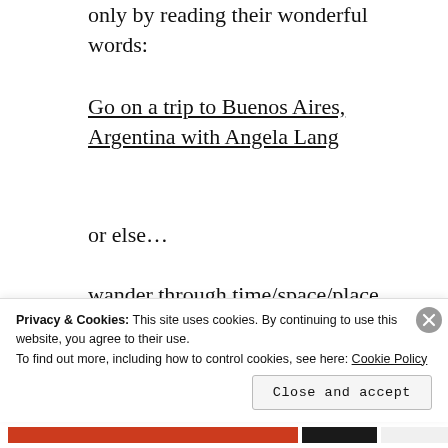only by reading their wonderful words:
Go on a trip to Buenos Aires, Argentina with Angela Lang
or else…
wander through time/space/place with Kristin Vukovic
They...
Privacy & Cookies: This site uses cookies. By continuing to use this website, you agree to their use.
To find out more, including how to control cookies, see here: Cookie Policy
Close and accept